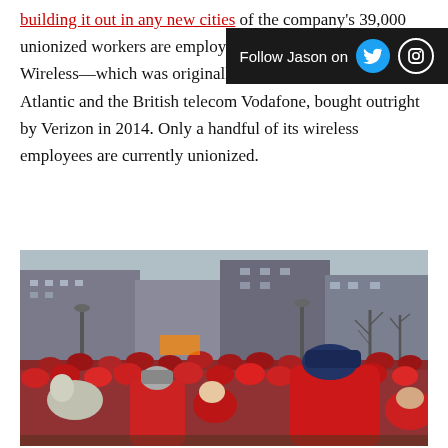building it out in any new cities of the company's 39,000 unionized workers are employed. Then it has Verizon Wireless—which was originally a joint venture of Bell Atlantic and the British telecom Vodafone, bought outright by Verizon in 2014. Only a handful of its wireless employees are currently unionized.
[Figure (photo): Large crowd of people wearing red shirts gathered in an urban street, with buildings visible in the background. Appears to be a labor rally or strike demonstration.]